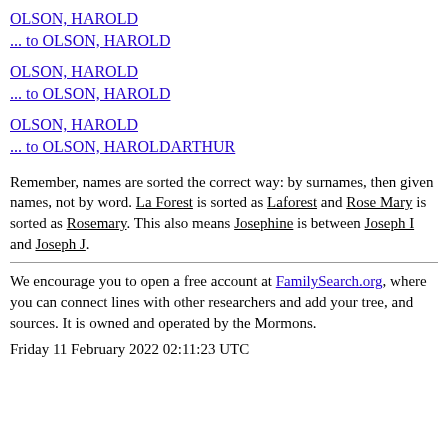OLSON, HAROLD
... to OLSON, HAROLD
OLSON, HAROLD
... to OLSON, HAROLD
OLSON, HAROLD
... to OLSON, HAROLDARTHUR
Remember, names are sorted the correct way: by surnames, then given names, not by word. La Forest is sorted as Laforest and Rose Mary is sorted as Rosemary. This also means Josephine is between Joseph I and Joseph J.
We encourage you to open a free account at FamilySearch.org, where you can connect lines with other researchers and add your tree, and sources. It is owned and operated by the Mormons.
Friday 11 February 2022 02:11:23 UTC